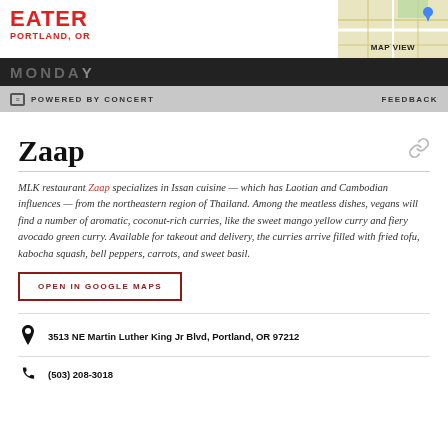EATER PORTLAND, OR
[Figure (map): Small map view thumbnail in top right corner with MAP VIEW label]
POWERED BY CONCERT | FEEDBACK
Zaap
MLK restaurant Zaap specializes in Issan cuisine — which has Laotian and Cambodian influences — from the northeastern region of Thailand. Among the meatless dishes, vegans will find a number of aromatic, coconut-rich curries, like the sweet mango yellow curry and fiery avocado green curry. Available for takeout and delivery, the curries arrive filled with fried tofu, kabocha squash, bell peppers, carrots, and sweet basil.
OPEN IN GOOGLE MAPS
3513 NE Martin Luther King Jr Blvd, Portland, OR 97212
(503) 208-3018